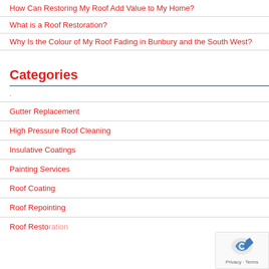How Can Restoring My Roof Add Value to My Home?
What is a Roof Restoration?
Why Is the Colour of My Roof Fading in Bunbury and the South West?
Categories
Gutter Replacement
High Pressure Roof Cleaning
Insulative Coatings
Painting Services
Roof Coating
Roof Repointing
Roof Restoration